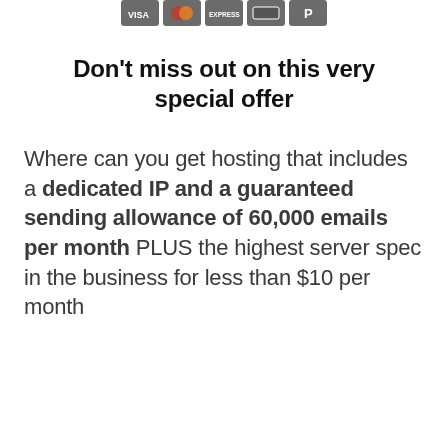[Figure (other): Row of five payment/service icon buttons rendered as dark grey rounded rectangles]
Don't miss out on this very special offer
Where can you get hosting that includes a dedicated IP and a guaranteed sending allowance of 60,000 emails per month PLUS the highest server spec in the business for less than $10 per month